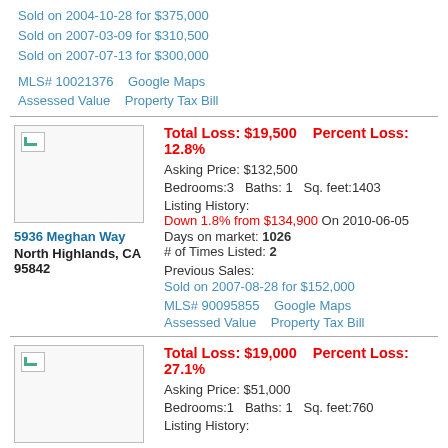Sold on 2004-10-28 for $375,000
Sold on 2007-03-09 for $310,500
Sold on 2007-07-13 for $300,000
MLS# 10021376    Google Maps
Assessed Value    Property Tax Bill
Total Loss: $19,500    Percent Loss: 12.8%
Asking Price: $132,500
Bedrooms:3    Baths: 1    Sq. feet:1403
Listing History:
Down 1.8% from $134,900 On 2010-06-05
5936 Meghan Way
North Highlands, CA 95842
Days on market: 1026
# of Times Listed: 2
Previous Sales:
Sold on 2007-08-28 for $152,000
MLS# 90095855    Google Maps
Assessed Value    Property Tax Bill
Total Loss: $19,000    Percent Loss: 27.1%
Asking Price: $51,000
Bedrooms:1    Baths: 1    Sq. feet:760
Listing History: